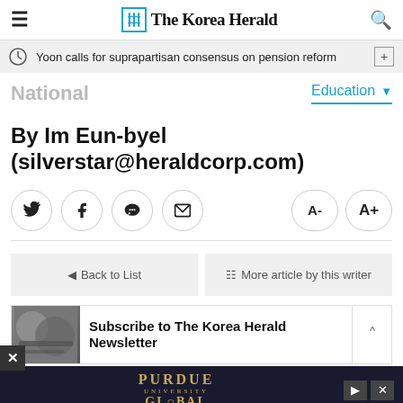The Korea Herald
Yoon calls for suprapartisan consensus on pension reform
National
Education
By Im Eun-byel (silverstar@heraldcorp.com)
[Figure (other): Social sharing buttons: Twitter, Facebook, KakaoTalk, Email; Font size buttons A- and A+]
Back to List
More article by this writer
[Figure (other): Subscribe to The Korea Herald Newsletter banner with newspaper image]
[Figure (other): Purdue University Global advertisement banner]